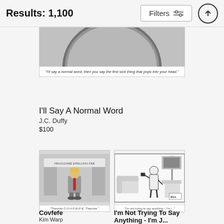Results: 1,100
[Figure (illustration): Partially visible cartoon showing a round black-and-white comic illustration. Caption reads: "I'll say a normal word, then you say the first sick thing that pops into your head."]
"I'll say a normal word, then you say the first sick thing that pops into your head."
I'll Say A Normal Word
J.C. Duffy
$100
[Figure (illustration): Cartoon showing a suited figure with blonde hair standing in front of curtains with a sign. Caption reads: "Theorize C-O-V-F-E-F-E. Theorize."]
Covfefe
Kim Warp
[Figure (illustration): Black and white cartoon (BEK) showing a person in a living room talking on the phone. Caption reads: "I'm not trying to say anything - I'm j..."]
I'm Not Trying To Say Anything - I'm J...
Bruce Eric Kaplan